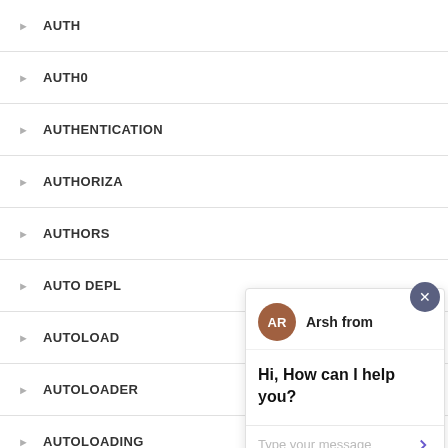AUTH
AUTH0
AUTHENTICATION
AUTHORIZA
AUTHORS
AUTO DEPL
AUTOLOAD
AUTOLOADER
AUTOLOADING
[Figure (screenshot): Chat popup with avatar AR (Arsh from), message 'Hi, How can I help you?', and text input field with send button. Close button (X) in dark circle top right. Purple chat launcher button bottom right.]